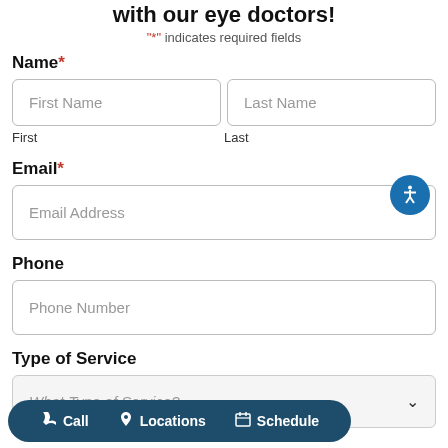with our eye doctors!
"*" indicates required fields
Name*
First Name | Last Name (form fields)
First   Last
Email*
Email Address (form field)
Phone
Phone Number (form field)
Type of Service
What Type of Service? (dropdown)
Call   Locations   Schedule